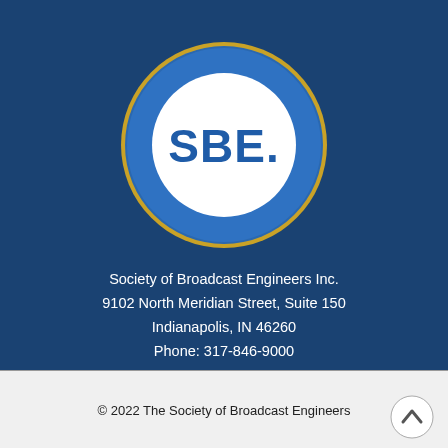[Figure (logo): SBE (Society of Broadcast Engineers) circular logo — dark blue outer ring with gold border, white inner circle with 'SBE.' in bold blue letters]
Society of Broadcast Engineers Inc.
9102 North Meridian Street, Suite 150
Indianapolis, IN 46260
Phone: 317-846-9000
[Figure (illustration): Four social media icons in a row: Facebook, Twitter, LinkedIn, YouTube — white icons on dark blue circular backgrounds]
© 2022 The Society of Broadcast Engineers